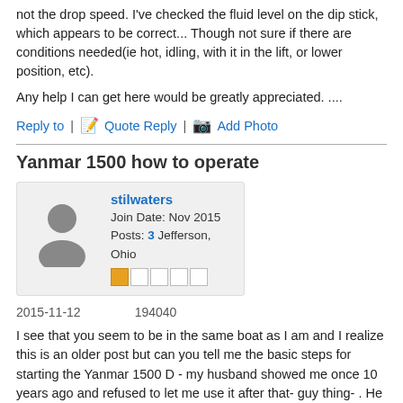not the drop speed. I've checked the fluid level on the dip stick, which appears to be correct... Though not sure if there are conditions needed(ie hot, idling, with it in the lift, or lower position, etc).
Any help I can get here would be greatly appreciated. ....
Reply to | Quote Reply | Add Photo
Yanmar 1500 how to operate
stilwaters
Join Date: Nov 2015
Posts: 3 Jefferson, Ohio
2015-11-12      194040
I see that you seem to be in the same boat as I am and I realize this is an older post but can you tell me the basic steps for starting the Yanmar 1500 D - my husband showed me once 10 years ago and refused to let me use it after that- guy thing- . He has passed and now I am trying to figure it out. ....